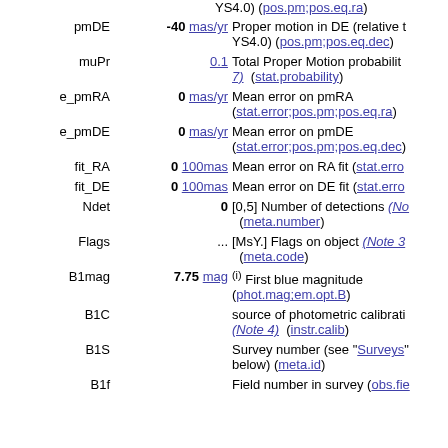YS4.0) (pos.pm;pos.eq.ra)
pmDE  -40 mas/yr  Proper motion in DE (relative to YS4.0) (pos.pm;pos.eq.dec)
muPr  0.1  Total Proper Motion probability 7) (stat.probability)
e_pmRA  0 mas/yr  Mean error on pmRA (stat.error;pos.pm;pos.eq.ra)
e_pmDE  0 mas/yr  Mean error on pmDE (stat.error;pos.pm;pos.eq.dec)
fit_RA  0 100mas  Mean error on RA fit (stat.error...)
fit_DE  0 100mas  Mean error on DE fit (stat.error...)
Ndet  0  [0,5] Number of detections (Note...) (meta.number)
Flags  ...  [MsY.] Flags on object (Note 3...) (meta.code)
B1mag  7.75 mag  (i) First blue magnitude (phot.mag;em.opt.B)
B1C  source of photometric calibration (Note 4) (instr.calib)
B1S  Survey number (see "Surveys" below) (meta.id)
B1f  Field number in survey (obs.fie...)